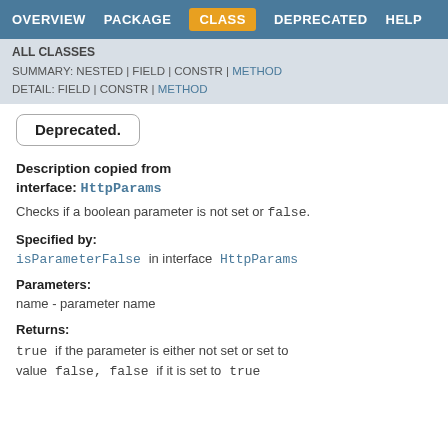OVERVIEW   PACKAGE   CLASS   DEPRECATED   HELP
ALL CLASSES
SUMMARY: NESTED | FIELD | CONSTR | METHOD
DETAIL: FIELD | CONSTR | METHOD
Deprecated.
Description copied from interface: HttpParams
Checks if a boolean parameter is not set or false.
Specified by:
isParameterFalse in interface HttpParams
Parameters:
name - parameter name
Returns:
true if the parameter is either not set or set to value false, false if it is set to true